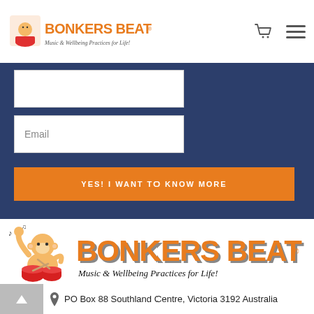[Figure (logo): Bonkers Beat logo with monkey mascot playing drums, orange text reading BONKERS BEAT, tagline Music & Wellbeing Practices for Life!]
[Figure (screenshot): Dark blue form section with two white input boxes (one partially visible, one labeled Email) and an orange button labeled YES! I WANT TO KNOW MORE]
[Figure (logo): Large Bonkers Beat logo with monkey mascot, large orange 3D BONKERS BEAT text, and tagline Music & Wellbeing Practices for Life!]
PO Box 88 Southland Centre, Victoria 3192 Australia